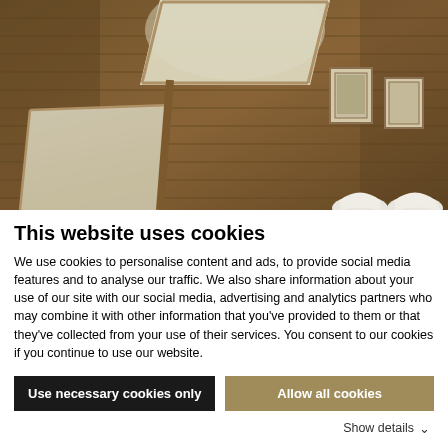[Figure (photo): Interior photo of a wooden attic room with slanted ceiling made of pine planks. Two large skylights let in bright light. Two framed pictures hang on the slanted ceiling wall. White modern chairs are partially visible at the bottom right.]
This website uses cookies
We use cookies to personalise content and ads, to provide social media features and to analyse our traffic. We also share information about your use of our site with our social media, advertising and analytics partners who may combine it with other information that you've provided to them or that they've collected from your use of their services. You consent to our cookies if you continue to use our website.
Use necessary cookies only
Allow all cookies
Show details